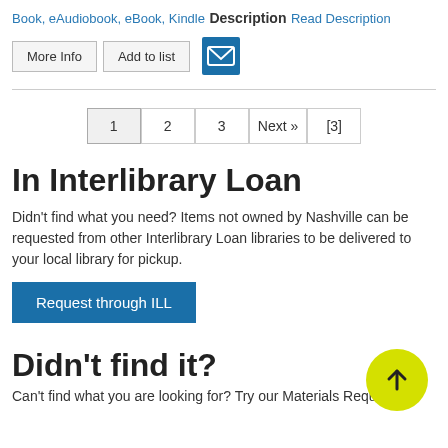Book, eAudiobook, eBook, Kindle
Description
Read Description
[Figure (screenshot): More Info and Add to list buttons with email icon]
1  2  3  Next »  [3]
In Interlibrary Loan
Didn't find what you need? Items not owned by Nashville can be requested from other Interlibrary Loan libraries to be delivered to your local library for pickup.
Request through ILL
Didn't find it?
Can't find what you are looking for? Try our Materials Request